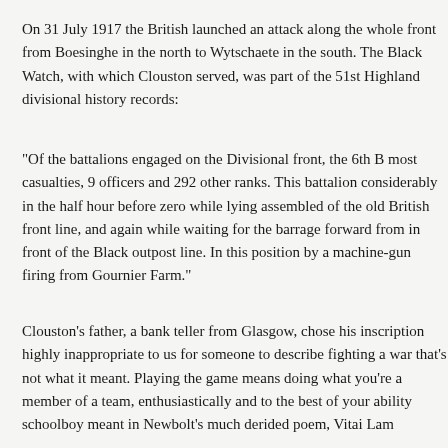On 31 July 1917 the British launched an attack along the whole front from Boesinghe in the north to Wytschaete in the south. The Black Watch, with which Clouston served, was part of the 51st Highland divisional history records:
"Of the battalions engaged on the Divisional front, the 6th B... most casualties, 9 officers and 292 other ranks. This battalion considerably in the half hour before zero while lying assembled of the old British front line, and again while waiting for the b... forward from in front of the Black outpost line. In this position by a machine-gun firing from Gournier Farm."
Clouston's father, a bank teller from Glasgow, chose his inscription... highly inappropriate to us for someone to describe fighting a... that's not what it meant. Playing the game means doing what a member of a team, enthusiastically and to the best of your a... schoolboy meant in Newbolt's much derided poem, Vitai Lam...